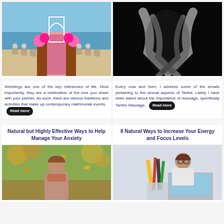[Figure (photo): Outdoor beach wedding ceremony with flower petal aisle, white arch, and guests seated on either side]
[Figure (photo): Black and white close-up photo of intertwined arms/hands in dark setting]
Weddings are one of the key milestones of life. Most importantly, they are a celebration of the love you share with your partner. As such, there are various traditions and activities that make up contemporary matrimonial events. Read more
Every now and then, I address some of the emails pertaining to the sexual aspects of Tantra. Lately I have been asked about the importance of massage, specifically Tantric Massage. Read more
Natural but Highly Effective Ways to Help Manage Your Anxiety
8 Natural Ways to Increase Your Energy and Focus Levels
[Figure (photo): Young woman with long hair outdoors in autumn leaves, eyes closed, relaxed expression]
[Figure (photo): Woman with glasses working at a laptop computer, pencils in foreground]